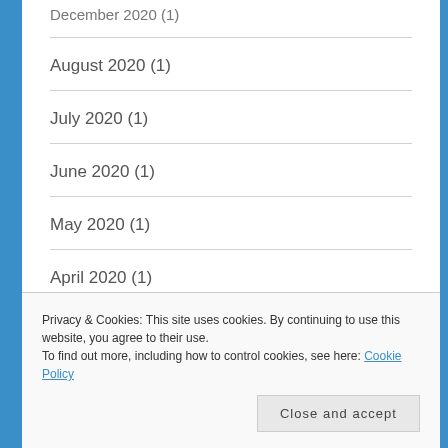December 2020 (1)
August 2020 (1)
July 2020 (1)
June 2020 (1)
May 2020 (1)
April 2020 (1)
March 2020 (2)
Privacy & Cookies: This site uses cookies. By continuing to use this website, you agree to their use.
To find out more, including how to control cookies, see here: Cookie Policy
Close and accept